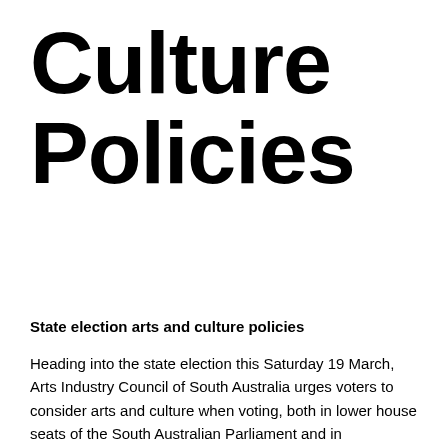Culture Policies
State election arts and culture policies
Heading into the state election this Saturday 19 March, Arts Industry Council of South Australia urges voters to consider arts and culture when voting, both in lower house seats of the South Australian Parliament and in